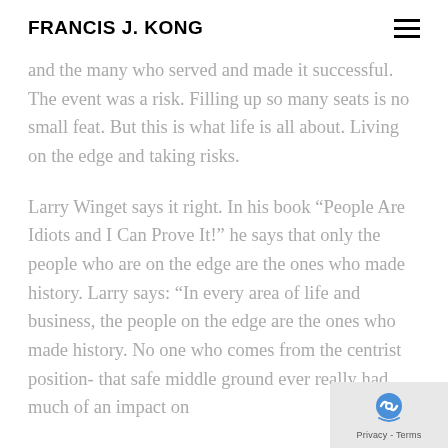FRANCIS J. KONG
and the many who served and made it successful. The event was a risk. Filling up so many seats is no small feat. But this is what life is all about. Living on the edge and taking risks.
Larry Winget says it right. In his book “People Are Idiots and I Can Prove It!” he says that only the people who are on the edge are the ones who made history. Larry says: “In every area of life and business, the people on the edge are the ones who made history. No one who comes from the centrist position- that safe middle ground ever really had much of an impact on